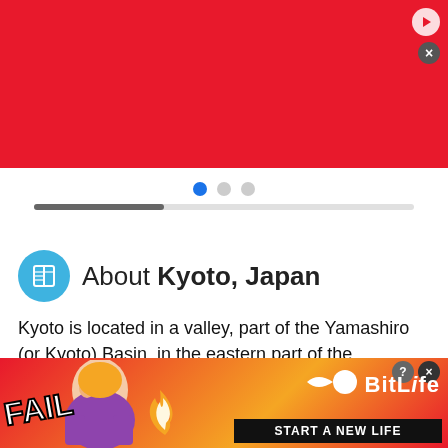[Figure (other): Red advertisement banner at top of page with play button and close button icons]
[Figure (other): Slider navigation with three dots (first dot active/blue) and a dark gray progress bar partially filled]
About Kyoto, Japan
Kyoto is located in a valley, part of the Yamashiro (or Kyoto) Basin, in the eastern part of the mountainous region known as the Tamba highlands. The Yamashiro Basin is surrounded on three sides by mountains known as Higashiyama,
This site uses cookies and other similar technologies to provide site functionality, analyze traffic and usage, and
[Figure (other): BitLife advertisement banner at the bottom showing FAIL text, cartoon character, fire emoji, sperm logo, BitLife branding, and START A NEW LIFE call to action]